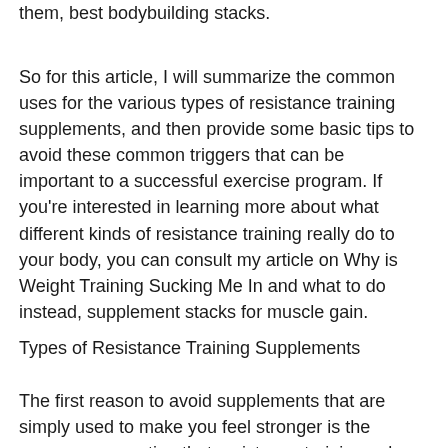them, best bodybuilding stacks.
So for this article, I will summarize the common uses for the various types of resistance training supplements, and then provide some basic tips to avoid these common triggers that can be important to a successful exercise program. If you're interested in learning more about what different kinds of resistance training really do to your body, you can consult my article on Why is Weight Training Sucking Me In and what to do instead, supplement stacks for muscle gain.
Types of Resistance Training Supplements
The first reason to avoid supplements that are simply used to make you feel stronger is the common perception that resistance training only builds muscle, without regard for strength training. These common beliefs